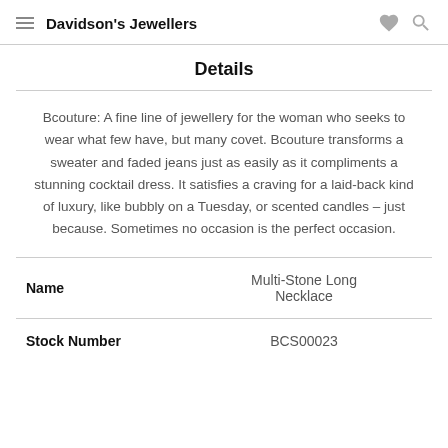Davidson's Jewellers
Details
Bcouture: A fine line of jewellery for the woman who seeks to wear what few have, but many covet. Bcouture transforms a sweater and faded jeans just as easily as it compliments a stunning cocktail dress. It satisfies a craving for a laid-back kind of luxury, like bubbly on a Tuesday, or scented candles – just because. Sometimes no occasion is the perfect occasion.
| Name |  |
| --- | --- |
| Name | Multi-Stone Long Necklace |
| Stock Number | BCS00023 |